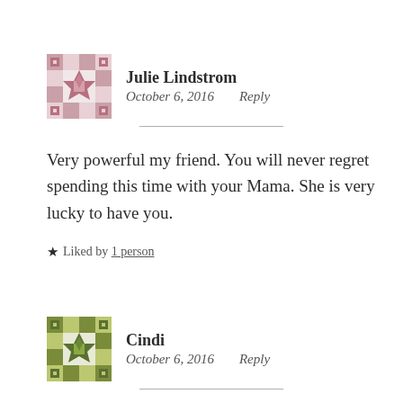[Figure (illustration): Pink/mauve quilt-pattern avatar icon for Julie Lindstrom]
Julie Lindstrom
October 6, 2016    Reply
Very powerful my friend. You will never regret spending this time with your Mama. She is very lucky to have you.
★ Liked by 1 person
[Figure (illustration): Olive/green quilt-pattern avatar icon for Cindi]
Cindi
October 6, 2016    Reply